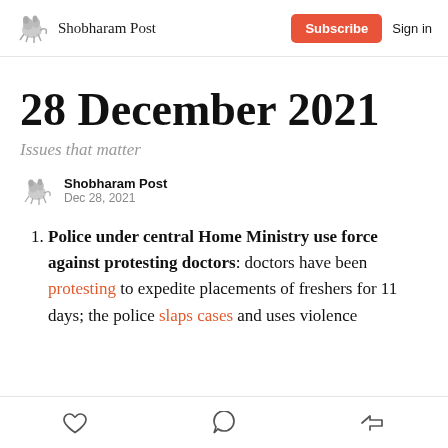Shobharam Post | Subscribe | Sign in
28 December 2021
Issues that matter
Shobharam Post
Dec 28, 2021
Police under central Home Ministry use force against protesting doctors: doctors have been protesting to expedite placements of freshers for 11 days; the police slaps cases and uses violence